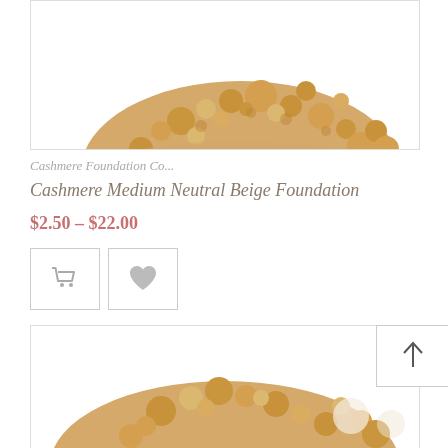[Figure (photo): Top-down view of beige mineral powder foundation pile on white background, cropped at top]
Cashmere Foundation Co...
Cashmere Medium Neutral Beige Foundation
$2.50 – $22.00
[Figure (other): Shopping cart icon button and heart/wishlist icon button]
[Figure (photo): Partial view of another beige mineral powder foundation pile, with scroll-to-top arrow button overlay]